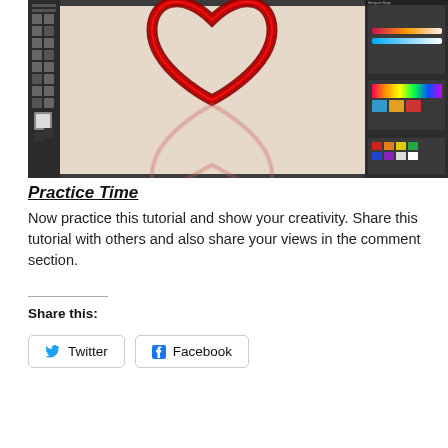[Figure (screenshot): Screenshot of Adobe Photoshop interface showing a red outlined heart shape with a reflection on a beige textured background, with toolbars and color panels visible.]
Practice Time
Now practice this tutorial and show your creativity. Share this tutorial with others and also share your views in the comment section.
Share this:
Twitter  Facebook